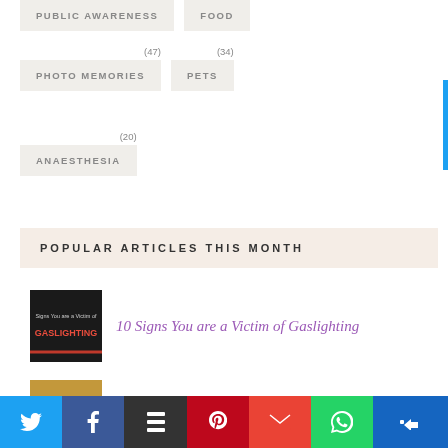PUBLIC AWARENESS
FOOD
PHOTO MEMORIES (47)
PETS (34)
ANAESTHESIA (20)
POPULAR ARTICLES THIS MONTH
[Figure (photo): Book cover: Signs You are a Victim of GASLIGHTING]
10 Signs You are a Victim of Gaslighting
[Figure (photo): Food photo with number 7 overlay]
75 Options for an Indian
Twitter | Facebook | Buffer | Pinterest | Gmail | WhatsApp | Crown